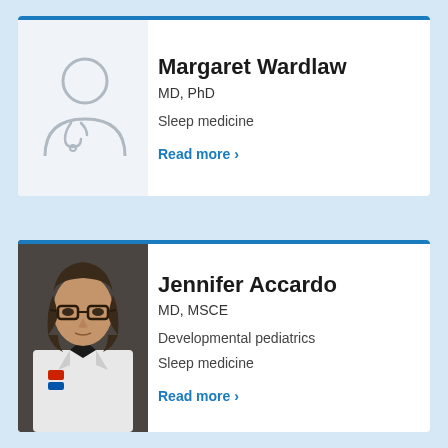[Figure (illustration): Placeholder silhouette icon of a doctor with stethoscope, gray outline on light gray background]
Margaret Wardlaw
MD, PhD
Sleep medicine
Read more  >
[Figure (photo): Photo of Dr. Jennifer Accardo, a woman with shoulder-length dark hair and glasses wearing a white lab coat]
Jennifer Accardo
MD, MSCE
Developmental pediatrics
Sleep medicine
Read more  >